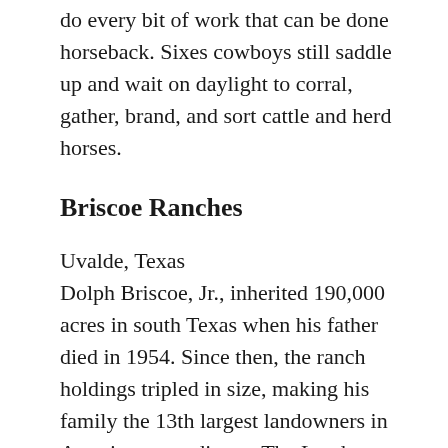do every bit of work that can be done horseback. Sixes cowboys still saddle up and wait on daylight to corral, gather, brand, and sort cattle and herd horses.
Briscoe Ranches
Uvalde, Texas
Dolph Briscoe, Jr., inherited 190,000 acres in south Texas when his father died in 1954. Since then, the ranch holdings tripled in size, making his family the 13th largest landowners in America, according to The Land Report, and second-largest in Texas to the King Ranch. Briscoe, Jr., a two-term governor of Texas in the 1970s, passed away in 2010.